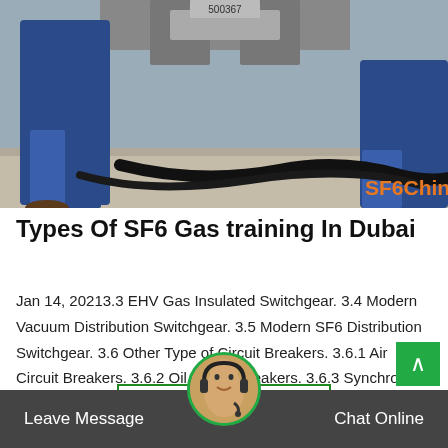[Figure (photo): Workers in blue uniforms working with SF6 gas equipment and cables on a concrete floor. Watermark 'SF6China' in orange at bottom right.]
Types Of SF6 Gas training In Dubai
Jan 14, 20213.3 EHV Gas Insulated Switchgear. 3.4 Modern Vacuum Distribution Switchgear. 3.5 Modern SF6 Distribution Switchgear. 3.6 Other Type of Circuit Breakers. 3.6.1 Air Circuit Breakers. 3.6.2 Oil Circuit Breakers. 3.6.3 Synchronies Circuit…
Leave Message  Chat Online